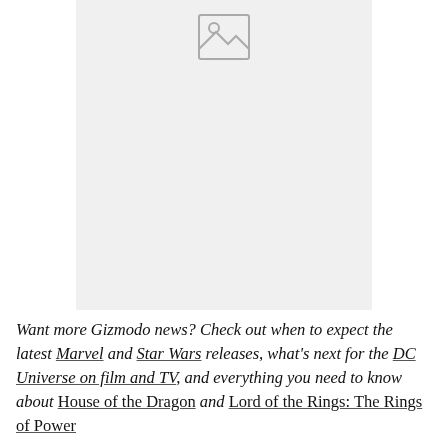[Figure (other): Image placeholder with mountain/landscape icon on light gray background]
Want more Gizmodo news? Check out when to expect the latest Marvel and Star Wars releases, what's next for the DC Universe on film and TV, and everything you need to know about House of the Dragon and Lord of the Rings: The Rings of Power.